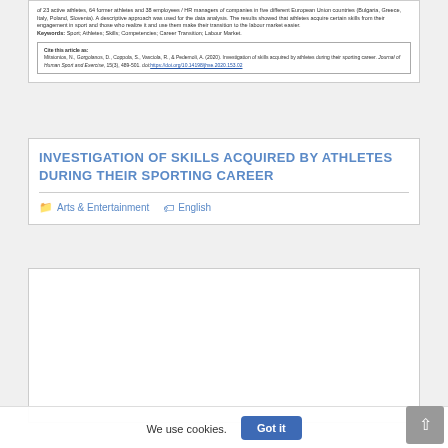of 23 active athletes, 64 former athletes and 38 employees / HR managers of companies in five different European Union countries (Bulgaria, Greece, Italy, Poland, Slovenia). A descriptive approach was used for the data analysis. The results showed that athletes acquire certain skills from their engagement in sport and those who realize it and use them make their transition to the labour market easier. Keywords: Sport; Athletes; Skills; Competencies; Career Transition; Labour Market.
Cite this article as: Mitsionios, N., Gorgolanos, D., Coppola, S., Vasciola, R., & Pedemoli, A. (2020). Investigation of skills acquired by athletes during their sporting career. Journal of Human Sport and Exercise, 15(3), 489-501. doi:https://doi.org/10.14198/jhse.2020.153.02
INVESTIGATION OF SKILLS ACQUIRED BY ATHLETES DURING THEIR SPORTING CAREER
Arts & Entertainment  English
We use cookies.